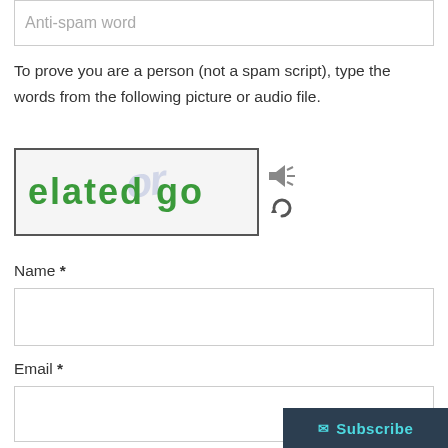Anti-spam word
To prove you are a person (not a spam script), type the words from the following picture or audio file.
[Figure (other): CAPTCHA image showing the text 'elated go' in green with a faint watermark background, accompanied by audio and refresh icons]
Name *
Email *
Save my name, email, and website in this
Subscribe